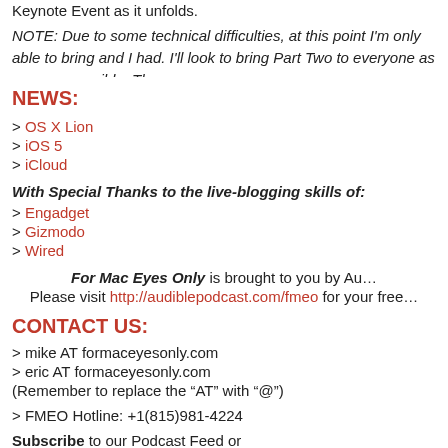Keynote Event as it unfolds.
NOTE: Due to some technical difficulties, at this point I'm only able to bring and I had. I'll look to bring Part Two to everyone as soon as possible. Than
NEWS:
> OS X Lion
> iOS 5
> iCloud
With Special Thanks to the live-blogging skills of:
> Engadget
> Gizmodo
> Wired
For Mac Eyes Only is brought to you by Au... Please visit http://audiblepodcast.com/fmeo for your free
CONTACT US:
> mike AT formaceyesonly.com
> eric AT formaceyesonly.com
(Remember to replace the "AT" with "@")
> FMEO Hotline: +1(815)981-4224
Subscribe to our Podcast Feed or